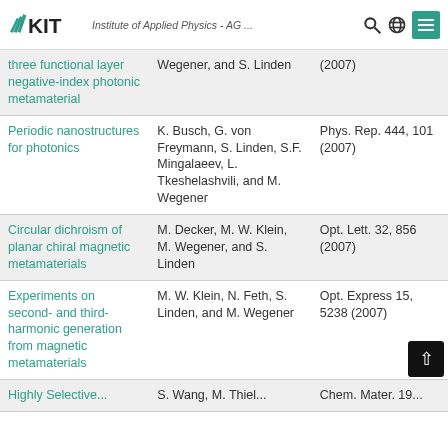KIT - Institute of Applied Physics - AG ...
| Title | Authors | Journal |
| --- | --- | --- |
| three functional layer negative-index photonic metamaterial | Wegener, and S. Linden | (2007) |
| Periodic nanostructures for photonics | K. Busch, G. von Freymann, S. Linden, S.F. Mingalaeev, L. Tkeshelashvili, and M. Wegener | Phys. Rep. 444, 101 (2007) |
| Circular dichroism of planar chiral magnetic metamaterials | M. Decker, M. W. Klein, M. Wegener, and S. Linden | Opt. Lett. 32, 856 (2007) |
| Experiments on second- and third-harmonic generation from magnetic metamaterials | M. W. Klein, N. Feth, S. Linden, and M. Wegener | Opt. Express 15, 5238 (2007) |
| Highly Selective... | S. Wang, M. Thiel... | Chem. Mater. 19... |